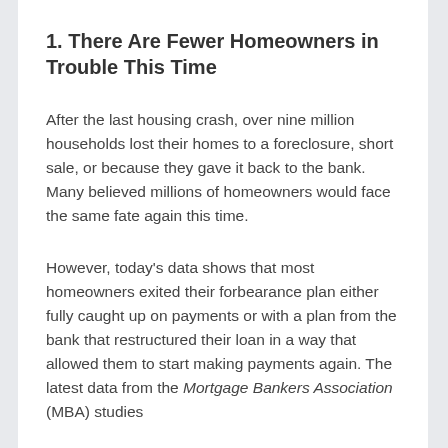1. There Are Fewer Homeowners in Trouble This Time
After the last housing crash, over nine million households lost their homes to a foreclosure, short sale, or because they gave it back to the bank. Many believed millions of homeowners would face the same fate again this time.
However, today's data shows that most homeowners exited their forbearance plan either fully caught up on payments or with a plan from the bank that restructured their loan in a way that allowed them to start making payments again. The latest data from the Mortgage Bankers Association (MBA) studies